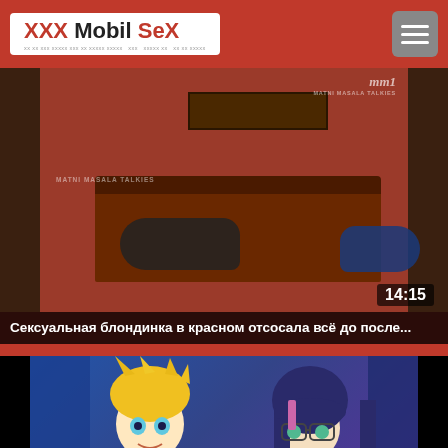XXX Mobil SeX
[Figure (photo): Video thumbnail showing a bedroom scene with a red wall, ornate bed, and figures. Watermark reads MATNI MASALA TALKIES. Duration badge shows 14:15.]
Сексуальная блондинка в красном отсосала всё до после...
[Figure (illustration): Anime-style cartoon thumbnail showing two animated characters - one with blonde hair and one with dark blue hair.]